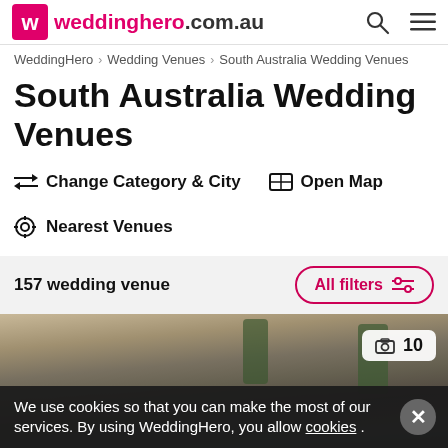weddinghero.com.au
WeddingHero > Wedding Venues > South Australia Wedding Venues
South Australia Wedding Venues
⇄ Change Category & City   🗺 Open Map
⊕ Nearest Venues
157 wedding venue
All filters
[Figure (photo): A long banquet table set for a wedding reception with chairs, candles, greenery and tableware. Photo counter shows 10 images.]
We use cookies so that you can make the most of our services. By using WeddingHero, you allow cookies .